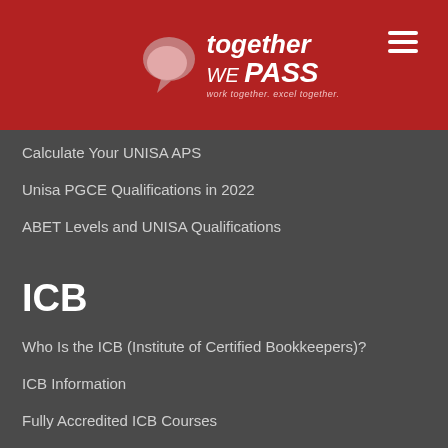together WE PASS — work together. excel together.
Calculate Your UNISA APS
Unisa PGCE Qualifications in 2022
ABET Levels and UNISA Qualifications
ICB
Who Is the ICB (Institute of Certified Bookkeepers)?
ICB Information
Fully Accredited ICB Courses
ICB Exams
Is ICB Recognised In South Africa?
Ember Academy
Ember Academy
ICB Financial Accounting Qualification